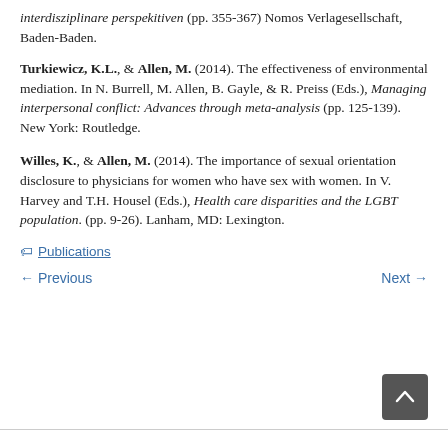interdisziplinare perspekitiven (pp. 355-367) Nomos Verlagesellschaft, Baden-Baden.
Turkiewicz, K.L., & Allen, M. (2014). The effectiveness of environmental mediation. In N. Burrell, M. Allen, B. Gayle, & R. Preiss (Eds.), Managing interpersonal conflict: Advances through meta-analysis (pp. 125-139). New York: Routledge.
Willes, K., & Allen, M. (2014). The importance of sexual orientation disclosure to physicians for women who have sex with women. In V. Harvey and T.H. Housel (Eds.), Health care disparities and the LGBT population. (pp. 9-26). Lanham, MD: Lexington.
Publications
← Previous    Next →